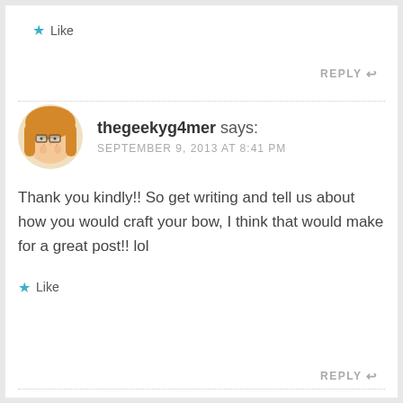★ Like
REPLY ↩
thegeekyg4mer says:
SEPTEMBER 9, 2013 AT 8:41 PM
Thank you kindly!! So get writing and tell us about how you would craft your bow, I think that would make for a great post!! lol
★ Like
REPLY ↩